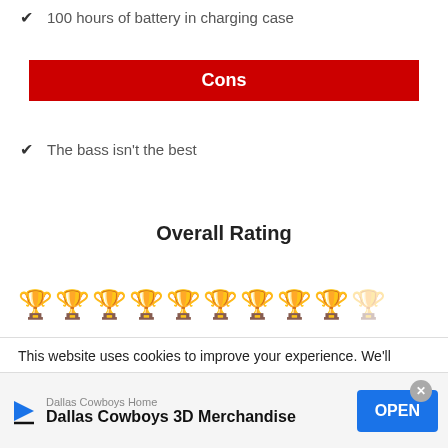100 hours of battery in charging case
Cons
The bass isn't the best
Overall Rating
[Figure (other): Rating icons showing 9 filled mug/trophy icons and 1 empty/outline icon]
This website uses cookies to improve your experience. We'll
[Figure (other): Advertisement banner: Dallas Cowboys Home - Dallas Cowboys 3D Merchandise with OPEN button]